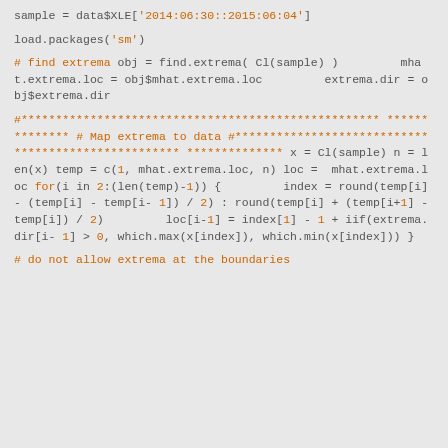sample = data$XLE['2014:06:30::2015:06:04']

load.packages('sm')

# find extrema
obj = find.extrema( Cl(sample) )
        mhat.extrema.loc = obj$mhat.extrema.loc
        extrema.dir = obj$extrema.dir

#****************************************************
**************
# Map extrema to data
#****************************************************
**************
x = Cl(sample)
n = len(x)
temp = c(1, mhat.extrema.loc, n)
loc =  mhat.extrema.loc
for(i in 2:(len(temp)-1)) {
        index = round(temp[i] - (temp[i] - temp[i-1]) / 2) : round(temp[i] + (temp[i+1] - temp[i]) / 2)
        loc[i-1] = index[1] - 1 + iif(extrema.dir[i-1] > 0, which.max(x[index]), which.min(x[index]))
}

# do not allow extrema at the boundaries